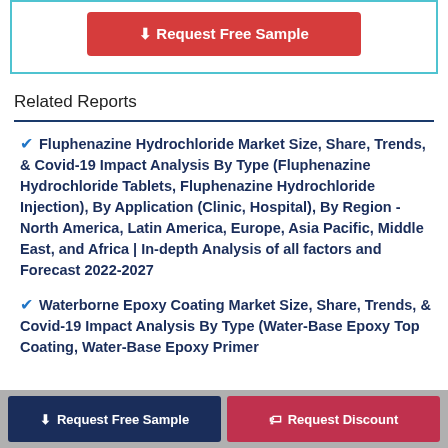[Figure (other): Red 'Request Free Sample' button inside a teal-bordered box]
Related Reports
Fluphenazine Hydrochloride Market Size, Share, Trends, & Covid-19 Impact Analysis By Type (Fluphenazine Hydrochloride Tablets, Fluphenazine Hydrochloride Injection), By Application (Clinic, Hospital), By Region - North America, Latin America, Europe, Asia Pacific, Middle East, and Africa | In-depth Analysis of all factors and Forecast 2022-2027
Waterborne Epoxy Coating Market Size, Share, Trends, & Covid-19 Impact Analysis By Type (Water-Base Epoxy Top Coating, Water-Base Epoxy Primer
Request Free Sample | Request Discount